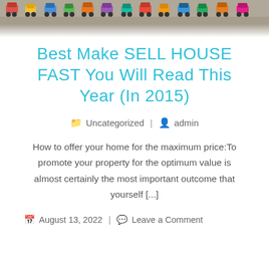[Figure (photo): Header banner photo showing colorful toy trains/vehicles lined up on a surface, viewed from above at carpet level]
Best Make SELL HOUSE FAST You Will Read This Year (In 2015)
Uncategorized | admin
How to offer your home for the maximum price:To promote your property for the optimum value is almost certainly the most important outcome that yourself [...]
August 13, 2022 | Leave a Comment